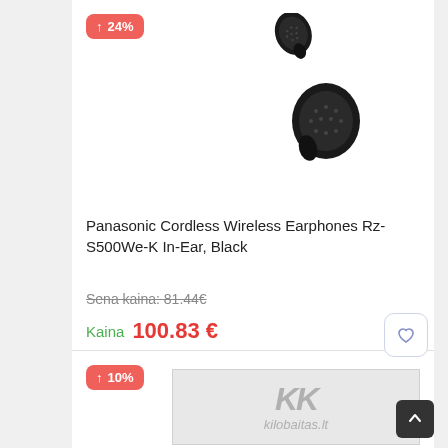[Figure (photo): Black Panasonic true wireless in-ear earbuds (two earbuds shown floating)]
↑ 24%
Panasonic Cordless Wireless Earphones Rz-S500We-K In-Ear, Black
Sena kaina: 81.44€
Kaina  100.83 €
↑ 10%
[Figure (logo): kilobaitas.lt watermark logo with KK letters]